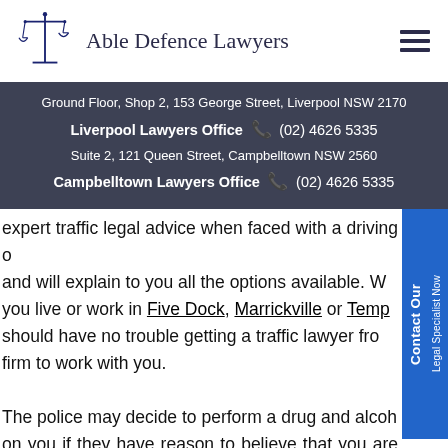[Figure (logo): Scales of justice logo icon in dark blue, with Able Defence Lawyers text]
Able Defence Lawyers
Ground Floor, Shop 2, 153 George Street, Liverpool NSW 2170
Liverpool Lawyers Office ☎ (02) 4626 5335
Suite 2, 121 Queen Street, Campbelltown NSW 2560
Campbelltown Lawyers Office ☎ (02) 4626 5335
expert traffic legal advice when faced with a driving o... and will explain to you all the options available. W... you live or work in Five Dock, Marrickville or Temp... should have no trouble getting a traffic lawyer fro... firm to work with you.

The police may decide to perform a drug and alco... on you if they have reason to believe that you are driving under the influence of alcohol or with drugs present in your system. If the test results are positive, you will be